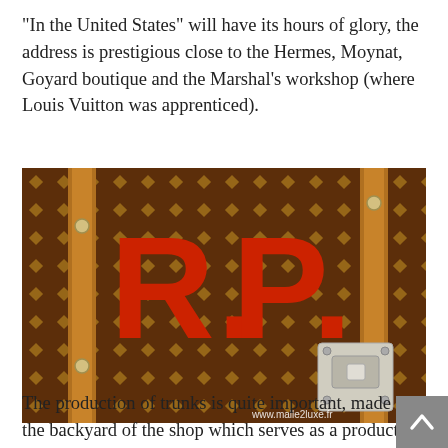"In the United States" will have its hours of glory, the address is prestigious close to the Hermes, Moynat, Goyard boutique and the Marshal's workshop (where Louis Vuitton was apprenticed).
[Figure (photo): Close-up photograph of a Louis Vuitton-style monogram trunk with large red letters 'R.P.' on a brown canvas with gold diamond pattern. Wooden slat trim and metal hardware visible. Watermark: www.malle2luxe.fr]
The production of trunks is quite important, made in the backyard of the shop which serves as a production